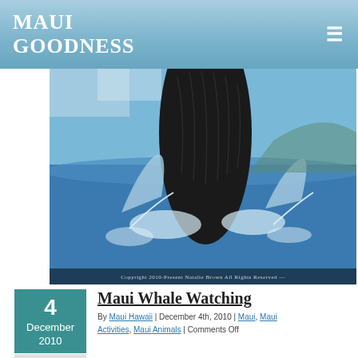Maui Goodness
[Figure (photo): A humpback whale breaching from the ocean water, with blue sky in the background. Copyright watermark reads: Copyright 2010-Present Natalie Brown All Rights Reserved]
Copyright 2010-Present Natalie Brown All Rights Reserved
Maui Whale Watching
By Maui Hawaii | December 4th, 2010 | Maui, Maui Activities, Maui Animals | Comments Off
Humpback whales make their migration to the warm waters of Hawaii each year from mid December up until mid May. The reason they